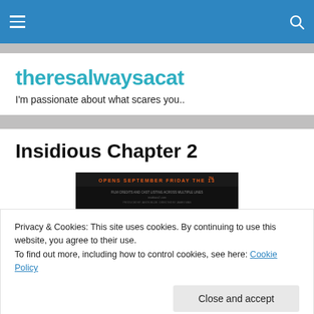theresalwaysacat - navigation bar
theresalwaysacat
I'm passionate about what scares you..
Insidious Chapter 2
[Figure (photo): Movie banner for Insidious Chapter 2 reading OPENS SEPTEMBER FRIDAY THE 13TH with credits and website insidious2.com]
Privacy & Cookies: This site uses cookies. By continuing to use this website, you agree to their use.
To find out more, including how to control cookies, see here: Cookie Policy
[Figure (photo): Bottom portion of a dark movie still from Insidious Chapter 2]